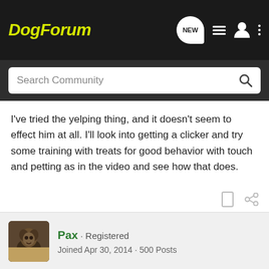DogForum
I've tried the yelping thing, and it doesn't seem to effect him at all. I'll look into getting a clicker and try some training with treats for good behavior with touch and petting as in the video and see how that does.
Pax · Registered
Joined Apr 30, 2014 · 500 Posts
#6 · Aug 4, 2015
For Pax it was all about redirection when he went for me...make